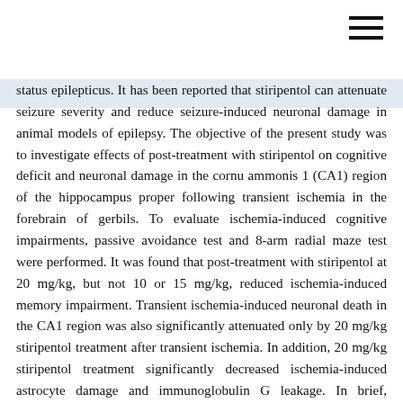[Figure (other): Hamburger menu icon (three horizontal lines) in upper right corner]
status epilepticus. It has been reported that stiripentol can attenuate seizure severity and reduce seizure-induced neuronal damage in animal models of epilepsy. The objective of the present study was to investigate effects of post-treatment with stiripentol on cognitive deficit and neuronal damage in the cornu ammonis 1 (CA1) region of the hippocampus proper following transient ischemia in the forebrain of gerbils. To evaluate ischemia-induced cognitive impairments, passive avoidance test and 8-arm radial maze test were performed. It was found that post-treatment with stiripentol at 20 mg/kg, but not 10 or 15 mg/kg, reduced ischemia-induced memory impairment. Transient ischemia-induced neuronal death in the CA1 region was also significantly attenuated only by 20 mg/kg stiripentol treatment after transient ischemia. In addition, 20 mg/kg stiripentol treatment significantly decreased ischemia-induced astrocyte damage and immunoglobulin G leakage. In brief, stiripentol treatment after transient ischemia ameliorated transient ischemia-induced cognitive impairment in gerbils,